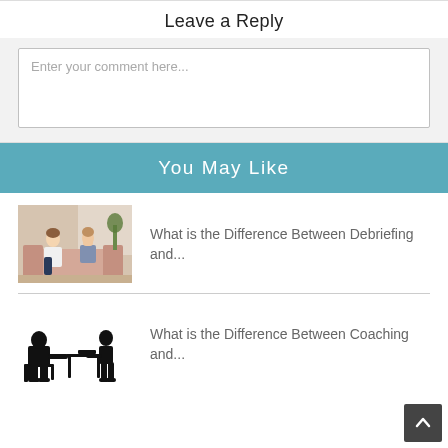Leave a Reply
Enter your comment here...
You May Like
What is the Difference Between Debriefing and...
[Figure (photo): Two women sitting on a couch, one appears distressed while the other listens]
What is the Difference Between Coaching and...
[Figure (illustration): Silhouette illustration of two people in a coaching/mentoring session at a desk]